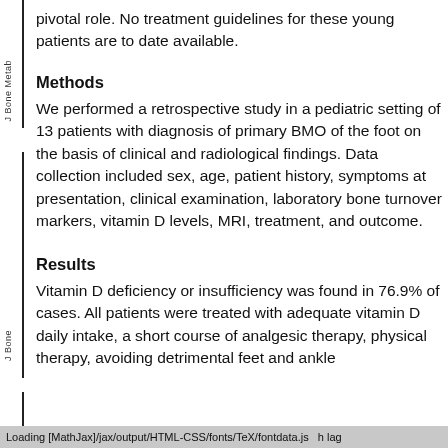pivotal role. No treatment guidelines for these young patients are to date available.
Methods
We performed a retrospective study in a pediatric setting of 13 patients with diagnosis of primary BMO of the foot on the basis of clinical and radiological findings. Data collection included sex, age, patient history, symptoms at presentation, clinical examination, laboratory bone turnover markers, vitamin D levels, MRI, treatment, and outcome.
Results
Vitamin D deficiency or insufficiency was found in 76.9% of cases. All patients were treated with adequate vitamin D daily intake, a short course of analgesic therapy, physical therapy, avoiding detrimental feet and ankle
Loading [MathJax]/jax/output/HTML-CSS/fonts/TeX/fontdata.js  h lag